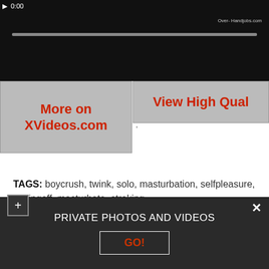[Figure (screenshot): Video player showing dark video content with play button, timestamp 0:00, progress bar, and watermark text 'Over- Handjobs.com']
More on XVideos.com
View High Qual
TAGS: boycrush, twink, solo, masturbation, selfpleasure, jerkingoff, masturbate, stroking
Divorcee Edita house inadditionto horny 5 min p 5 min Kimberly79
PRIVATE PHOTOS AND VIDEOS
GO!